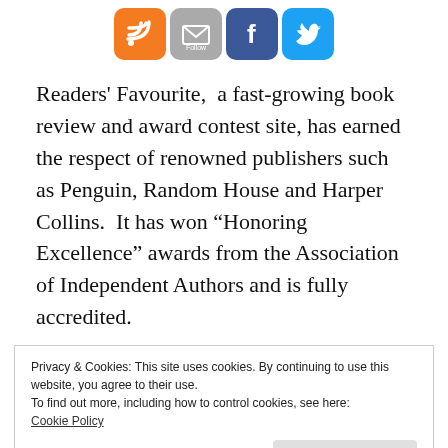[Figure (other): Row of four social media icons: RSS (orange), Email/Follow (grey), Facebook (blue), Twitter (light blue)]
Readers' Favourite,  a fast-growing book review and award contest site, has earned the respect of renowned publishers such as Penguin, Random House and Harper Collins.  It has won “Honoring Excellence” awards from the Association of Independent Authors and is fully accredited.
Privacy & Cookies: This site uses cookies. By continuing to use this website, you agree to their use.
To find out more, including how to control cookies, see here:
Cookie Policy
Close and accept